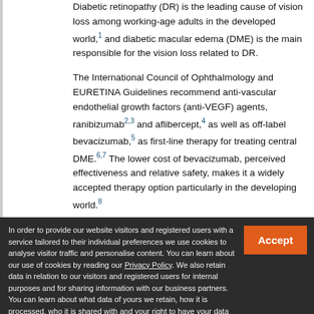Diabetic retinopathy (DR) is the leading cause of vision loss among working-age adults in the developed world,1 and diabetic macular edema (DME) is the main responsible for the vision loss related to DR.
The International Council of Ophthalmology and EURETINA Guidelines recommend anti-vascular endothelial growth factors (anti-VEGF) agents, ranibizumab2,3 and aflibercept,4 as well as off-label bevacizumab,5 as first-line therapy for treating central DME.6,7 The lower cost of bevacizumab, perceived effectiveness and relative safety, makes it a widely accepted therapy option particularly in the developing world.8
In order to provide our website visitors and registered users with a service tailored to their individual preferences we use cookies to analyse visitor traffic and personalise content. You can learn about our use of cookies by reading our Privacy Policy. We also retain data in relation to our visitors and registered users for internal purposes and for sharing information with our business partners. You can learn about what data of yours we retain, how it is processed, who it is shared with and your right to have your data deleted by reading our Privacy Policy. If you agree to our use of cookies and the contents of our Privacy Policy please click 'accept'.